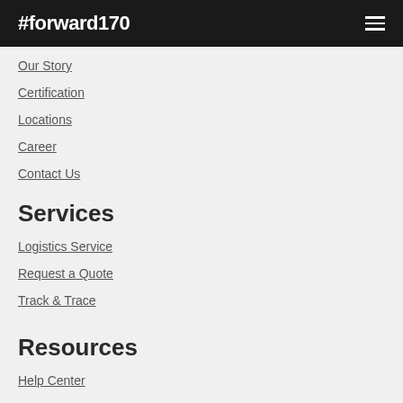#forward170
Our Story
Certification
Locations
Career
Contact Us
Services
Logistics Service
Request a Quote
Track & Trace
Resources
Help Center